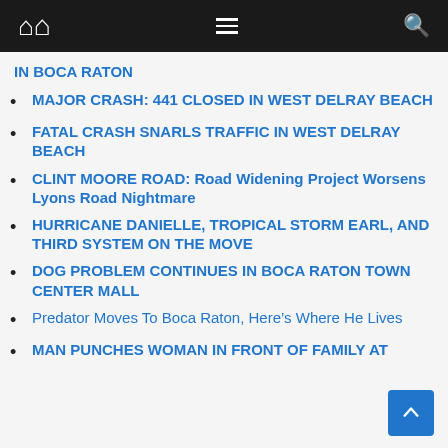Navigation bar with home, menu, and search icons
IN BOCA RATON
MAJOR CRASH: 441 CLOSED IN WEST DELRAY BEACH
FATAL CRASH SNARLS TRAFFIC IN WEST DELRAY BEACH
CLINT MOORE ROAD: Road Widening Project Worsens Lyons Road Nightmare
HURRICANE DANIELLE, TROPICAL STORM EARL, AND THIRD SYSTEM ON THE MOVE
DOG PROBLEM CONTINUES IN BOCA RATON TOWN CENTER MALL
Predator Moves To Boca Raton, Here’s Where He Lives
MAN PUNCHES WOMAN IN FRONT OF FAMILY AT